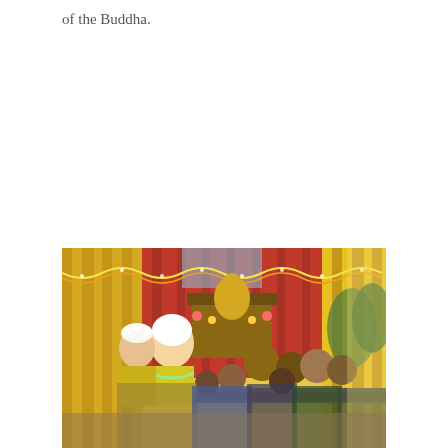of the Buddha.
[Figure (photo): A ceremonial or festival scene inside a tent or pavilion decorated with yellow and red curtains and garlands. People in traditional dress, including a person wearing a white head covering and yellow/green traditional garments, are gathered around a table. Children and adults are visible in the crowd. The setting appears to be a Southeast Asian cultural or religious celebration.]